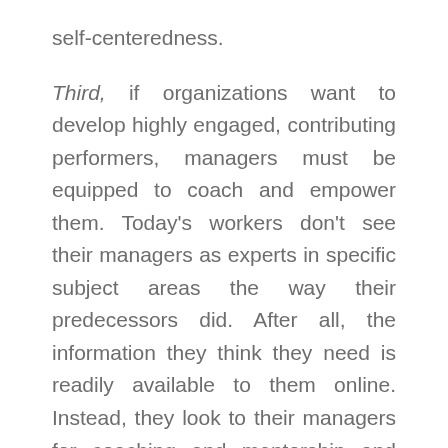self-centeredness.
Third, if organizations want to develop highly engaged, contributing performers, managers must be equipped to coach and empower them. Today's workers don't see their managers as experts in specific subject areas the way their predecessors did. After all, the information they think they need is readily available to them online. Instead, they look to their managers for coaching and mentorship and find purpose through learning, contributing, and growing on the job.